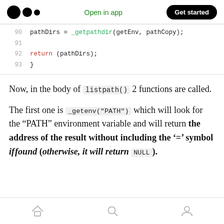Medium app header with logo, 'Open in app', and 'Get started' button
[Figure (screenshot): Code snippet lines 90-93 showing C code: pathDirs = _getpathdir(getEnv, pathCopy); blank line; return (pathDirs); closing brace]
Now, in the body of listpath() 2 functions are called.
The first one is _getenv("PATH") which will look for the "PATH" environment variable and will return the address of the result without including the '=' symbol if found (otherwise, it will return NULL).
Bottom navigation bar with home, search, and profile icons